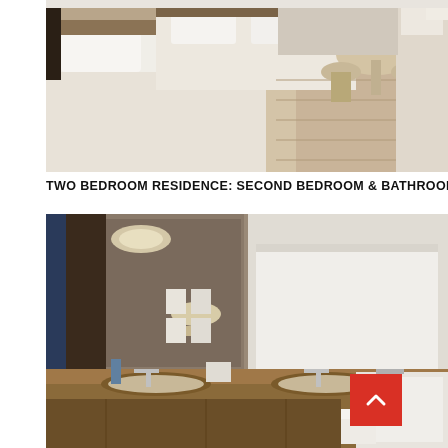[Figure (photo): Hotel room with two twin beds made with white linens, wooden floor, small round table with chairs in background, and a desk/dresser area on the right.]
TWO BEDROOM RESIDENCE: SECOND BEDROOM & BATHROOM
[Figure (photo): Hotel bathroom with double sink vanity in wood finish, large mirror, circular ceiling light fixture, wall-mounted sconce, white roller blind over window, and a soaking bathtub on the right with white towel draped over side. Red back-to-top button visible in bottom right corner.]